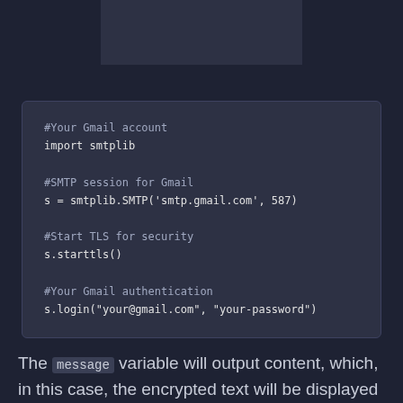[Figure (screenshot): Partial screenshot of a code block at the top of the page (cropped)]
#Your Gmail account
import smtplib

#SMTP session for Gmail
s = smtplib.SMTP('smtp.gmail.com', 587)

#Start TLS for security
s.starttls()

#Your Gmail authentication
s.login("your@gmail.com", "your-password")
The message variable will output content, which, in this case, the encrypted text will be displayed to the end-user. The code